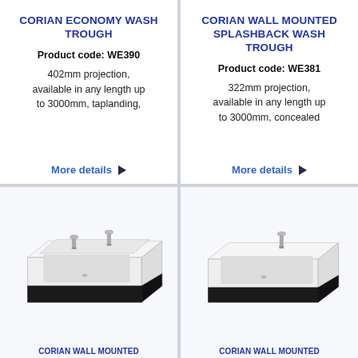CORIAN ECONOMY WASH TROUGH
Product code: WE390
402mm projection, available in any length up to 3000mm, taplanding,
More details ▶
CORIAN WALL MOUNTED SPLASHBACK WASH TROUGH
Product code: WE381
322mm projection, available in any length up to 3000mm, concealed
More details ▶
[Figure (photo): White Corian wall-mounted wash trough with black panel and chrome tap fittings]
CORIAN WALL MOUNTED
[Figure (photo): White Corian wall-mounted wash trough with black panel and chrome tap fitting]
CORIAN WALL MOUNTED